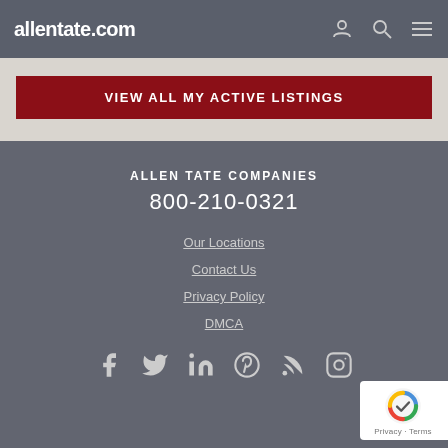allentate.com
VIEW ALL MY ACTIVE LISTINGS
ALLEN TATE COMPANIES
800-210-0321
Our Locations
Contact Us
Privacy Policy
DMCA
[Figure (other): Social media icons row: Facebook, Twitter, LinkedIn, Pinterest, RSS/Blog, Instagram]
[Figure (other): reCAPTCHA badge with logo and Privacy/Terms text]